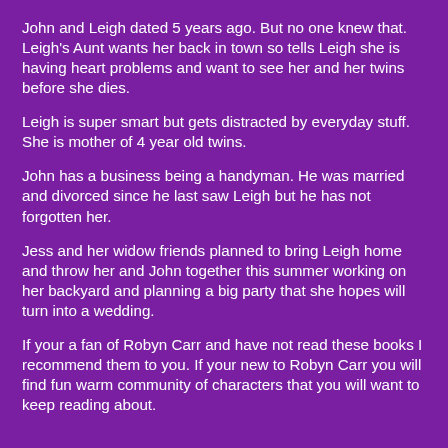John and Leigh dated 5 years ago. But no one knew that. Leigh's Aunt wants her back in town so tells Leigh she is having heart problems and want to see her and her twins before she dies.
Leigh is super smart but gets distracted by everyday stuff. She is mother of 4 year old twins.
John has a business being a handyman. He was married and divorced since he last saw Leigh but he has not forgotten her.
Jess and her widow friends planned to bring Leigh home and throw her and John together this summer working on her backyard and planning a big party that she hopes will turn into a wedding.
If your a fan of Robyn Carr and have not read these books I recommend them to you. If your new to Robyn Carr you will find fun warm community of characters that you will want to keep reading about.